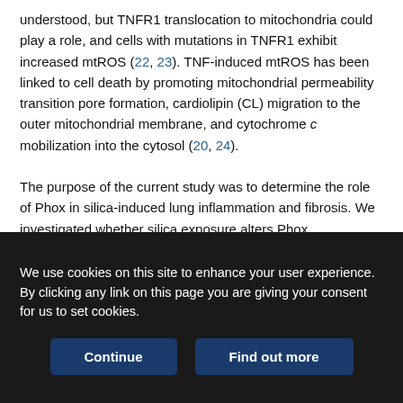understood, but TNFR1 translocation to mitochondria could play a role, and cells with mutations in TNFR1 exhibit increased mtROS (22, 23). TNF-induced mtROS has been linked to cell death by promoting mitochondrial permeability transition pore formation, cardiolipin (CL) migration to the outer mitochondrial membrane, and cytochrome c mobilization into the cytosol (20, 24).
The purpose of the current study was to determine the role of Phox in silica-induced lung inflammation and fibrosis. We investigated whether silica exposure alters Phox macrophage expression and whether TNFR1/Phox and mtROS generation constitute an integral aspect of the macrophage response to silica. To address these questions, we studied the expression of Phox proteins in macrophage cell lines as well as in primary
We use cookies on this site to enhance your user experience. By clicking any link on this page you are giving your consent for us to set cookies.